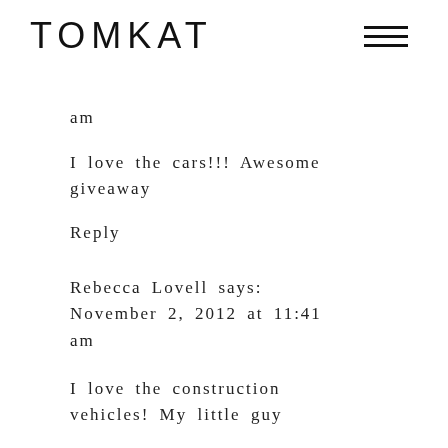TOMKAT
am
I love the cars!!! Awesome giveaway
Reply
Rebecca Lovell says: November 2, 2012 at 11:41 am
I love the construction vehicles! My little guy